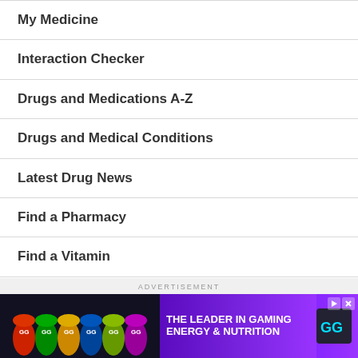My Medicine
Interaction Checker
Drugs and Medications A-Z
Drugs and Medical Conditions
Latest Drug News
Find a Pharmacy
Find a Vitamin
ADVERTISEMENT
[Figure (other): Advertisement banner for GG gaming energy and nutrition products showing colorful energy drink bottles on left and purple background with text 'THE LEADER IN GAMING ENERGY & NUTRITION' and GG logo on right]